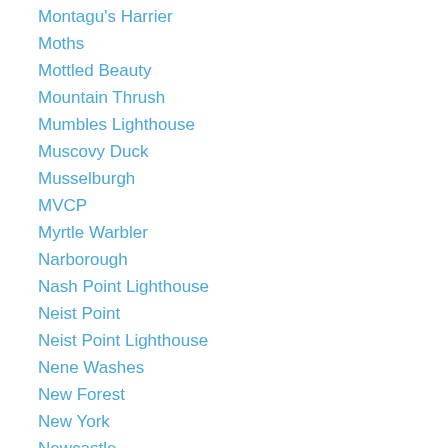Montagu's Harrier
Moths
Mottled Beauty
Mountain Thrush
Mumbles Lighthouse
Muscovy Duck
Musselburgh
MVCP
Myrtle Warbler
Narborough
Nash Point Lighthouse
Neist Point
Neist Point Lighthouse
Nene Washes
New Forest
New York
Newcastle
Newcastle United 3 Luton Town 1
Night Heron
Nightingale